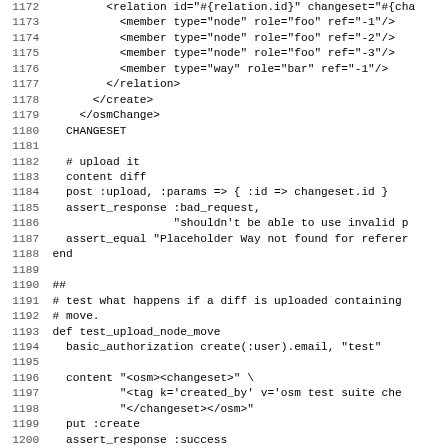Code listing lines 1172-1203 showing XML and Ruby test code for OSM changeset upload tests
1172: <relation id="#{relation.id}" changeset="#{cha
1173:   <member type="node" role="foo" ref="-1"/>
1174:   <member type="node" role="foo" ref="-2"/>
1175:   <member type="node" role="foo" ref="-3"/>
1176:   <member type="way" role="bar" ref="-1"/>
1177: </relation>
1178: </create>
1179: </osmChange>
1180: CHANGESET
1181: (blank)
1182:   # upload it
1183:   content diff
1184:   post :upload, :params => { :id => changeset.id }
1185:   assert_response :bad_request,
1186:                   "shouldn't be able to use invalid p
1187:   assert_equal "Placeholder Way not found for referer
1188:   end
1189: (blank)
1190:   ##
1191:   # test what happens if a diff is uploaded containing
1192:   # move.
1193:   def test_upload_node_move
1194:     basic_authorization create(:user).email, "test"
1195: (blank)
1196:     content "<osm><changeset>" \
1197:             "<tag k='created_by' v='osm test suite che
1198:             "</changeset></osm>"
1199:     put :create
1200:     assert_response :success
1201:     changeset_id = @response.body.to_i
1202: (blank)
1203:     old_node = create(:node, :lat => 1, :lon => 1)